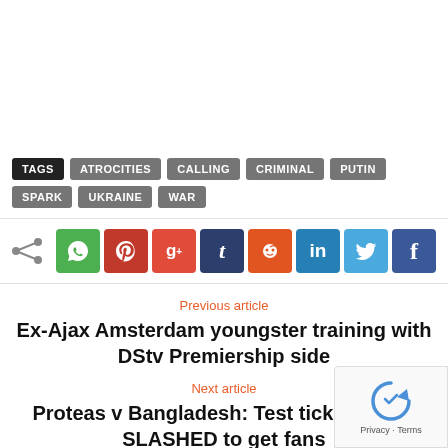TAGS  ATROCITIES  CALLING  CRIMINAL  PUTIN  SPARK  UKRAINE  WAR
[Figure (infographic): Share bar with social media icons: WhatsApp, Pinterest, Google+, Tumblr, Reddit, LinkedIn, Twitter, Facebook]
Previous article
Ex-Ajax Amsterdam youngster training with DStv Premiership side
Next article
Proteas v Bangladesh: Test ticket prices SLASHED to get fans on seats